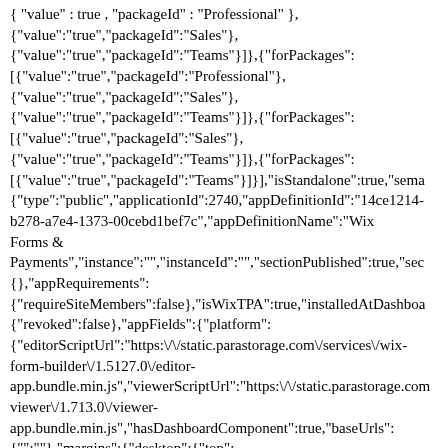{ "value" : true , "packageId" : "Professional" }, {"value":"true","packageId":"Sales"}, {"value":"true","packageId":"Teams"}]},{"forPackages": [{"value":"true","packageId":"Professional"}, {"value":"true","packageId":"Sales"}, {"value":"true","packageId":"Teams"}]},{"forPackages": [{"value":"true","packageId":"Sales"}, {"value":"true","packageId":"Teams"}]},{"forPackages": [{"value":"true","packageId":"Teams"}]}],"isStandalone":true,"sema {"type":"public","applicationId":2740,"appDefinitionId":"14ce1214-b278-a7e4-1373-00cebd1bef7c","appDefinitionName":"Wix Forms & Payments","instance":"","instanceId":"","sectionPublished":true,"sec {}},"appRequirements": {"requireSiteMembers":false},"isWixTPA":true,"installedAtDashboa {"revoked":false},"appFields":{"platform": {"editorScriptUrl":"https:\/\/static.parastorage.com\/services\/wix-form-builder\/1.5127.0\/editor-app.bundle.min.js","viewerScriptUrl":"https:\/\/static.parastorage.com viewer\/1.713.0\/viewer-app.bundle.min.js","hasDashboardComponent":true,"baseUrls": {"":""},{"margins":{"desktop":{"top": {"type":"PX","value":0},"right": {"type":"PX","value":0},"bottom":{"type":"PX","value":0},"left": {"type":"PX","value":0}}},"viewerScriptUrlTemplate":"https:\/\/stat